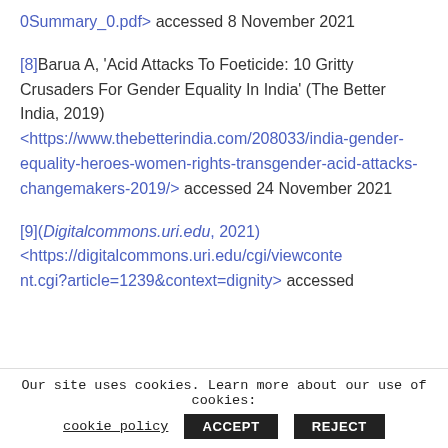0Summary_0.pdf> accessed 8 November 2021
[8]Barua A, 'Acid Attacks To Foeticide: 10 Gritty Crusaders For Gender Equality In India' (The Better India, 2019) <https://www.thebetterindia.com/208033/india-gender-equality-heroes-women-rights-transgender-acid-attacks-changemakers-2019/> accessed 24 November 2021
[9](Digitalcommons.uri.edu, 2021) <https://digitalcommons.uri.edu/cgi/viewcontent.cgi?article=1239&context=dignity> accessed
Our site uses cookies. Learn more about our use of cookies: cookie policy  ACCEPT  REJECT